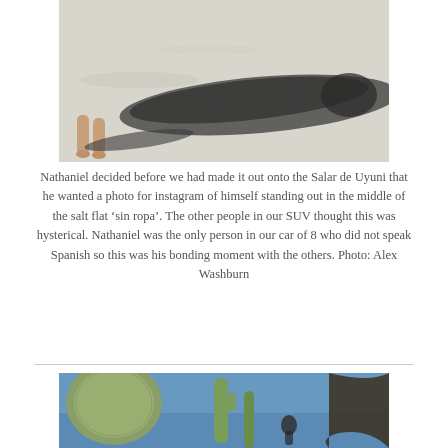[Figure (photo): Overhead photo of a person's bare feet and legs casting a long dramatic shadow across white salt flats (Salar de Uyuni).]
Nathaniel decided before we had made it out onto the Salar de Uyuni that he wanted a photo for instagram of himself standing out in the middle of the salt flat ‘sin ropa’. The other people in our SUV thought this was hysterical. Nathaniel was the only person in our car of 8 who did not speak Spanish so this was his bonding moment with the others. Photo: Alex Washburn
[Figure (photo): Low-angle photo looking up at tall cacti against a bright blue sky, with a person partially visible in the background.]